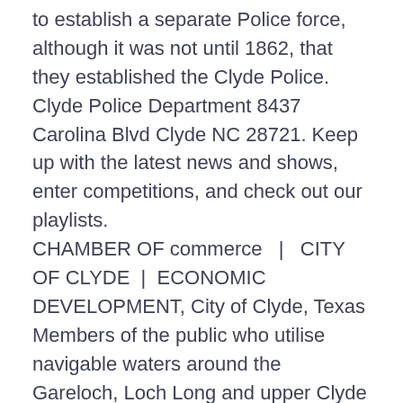to establish a separate Police force, although it was not until 1862, that they established the Clyde Police. Clyde Police Department 8437 Carolina Blvd Clyde NC 28721. Keep up with the latest news and shows, enter competitions, and check out our playlists. CHAMBER OF commerce  |   CITY OF CLYDE  |   ECONOMIC DEVELOPMENT, City of Clyde, Texas Members of the public who utilise navigable waters around the Gareloch, Loch Long and upper Clyde areas can expect to encounter MOD Police Officers water-borne in various craft, particularly around the MOD facilities at Faslane, Coulport, Glen Mallan, Loch Coil and Loch Striven. Marine Police. If you